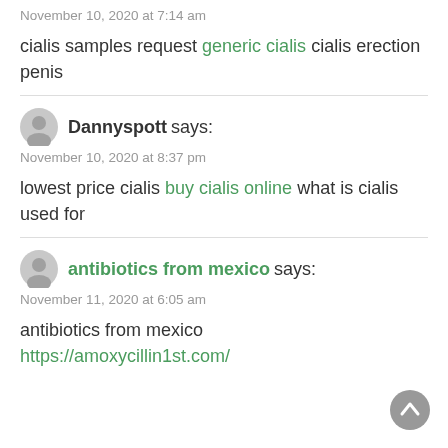November 10, 2020 at 7:14 am
cialis samples request generic cialis cialis erection penis
Dannyspott says:
November 10, 2020 at 8:37 pm
lowest price cialis buy cialis online what is cialis used for
antibiotics from mexico says:
November 11, 2020 at 6:05 am
antibiotics from mexico https://amoxycillin1st.com/